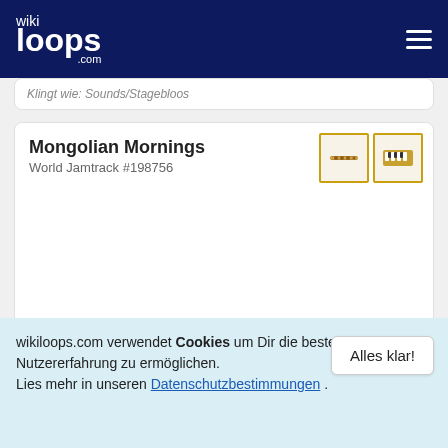wikiloops.com
Klingt wie: Sounds/Stagebloos
Mongolian Mornings
World Jamtrack #198756
Tempo: 63 BPM
Klingt wie: Ambience, drone, chanting
Mongolican
Unplugged Jamtrack #199714
wikiloops.com verwendet Cookies um Dir die beste Nutzererfahrung zu ermöglichen. Lies mehr in unseren Datenschutzbestimmungen .